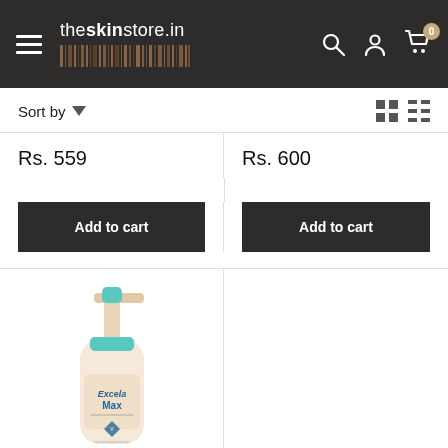theskinstore.in
Sort by
Rs. 559
Rs. 600
Add to cart
Add to cart
[Figure (photo): Excela Max moisturizing lotion bottle with teal pump dispenser and teal cap, cream/beige colored bottle]